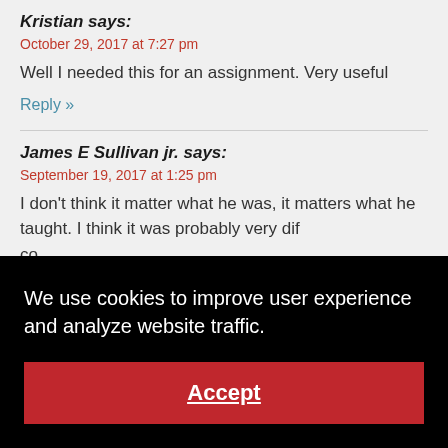Kristian says:
October 29, 2017 at 7:27 pm
Well I needed this for an assignment. Very useful
Reply »
James E Sullivan jr. says:
September 19, 2017 at 1:25 pm
I don't think it matter what he was, it matters what he taught. I think it was probably very dif... co... the... be... gu... cr... of people's faith wanted to be part of it and
We use cookies to improve user experience and analyze website traffic.
Accept